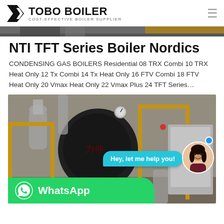TOBO BOILER — COST-EFFECTIVE BOILER SUPPLIER
[Figure (photo): Partial top strip of a boiler installation photo]
NTI TFT Series Boiler Nordics
CONDENSING GAS BOILERS Residential 08 TRX Combi 10 TRX Heat Only 12 Tx Combi 14 Tx Heat Only 16 FTV Combi 18 FTV Heat Only 20 Vmax Heat Only 22 Vmax Plus 24 TFT Series…
[Figure (photo): Industrial boiler equipment in a facility with yellow railings and large cylindrical boiler unit. Overlays include a cyan chat bubble saying 'Hey, let me help you!', a customer service avatar, and a WhatsApp button at the bottom left.]